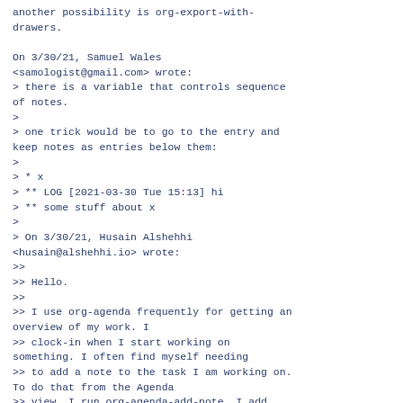another possibility is org-export-with-drawers.

On 3/30/21, Samuel Wales <samologist@gmail.com> wrote:
> there is a variable that controls sequence of notes.
>
> one trick would be to go to the entry and keep notes as entries below them:
>
> * x
> ** LOG [2021-03-30 Tue 15:13] hi
> ** some stuff about x
>
> On 3/30/21, Husain Alshehhi <husain@alshehhi.io> wrote:
>>
>> Hello.
>>
>> I use org-agenda frequently for getting an overview of my work. I
>> clock-in when I start working on something. I often find myself needing
>> to add a note to the task I am working on. To do that from the Agenda
>> view, I run org-agenda-add-note. I add typical notes like what my
>> findings are, anything I did related to the task, but it is nothing